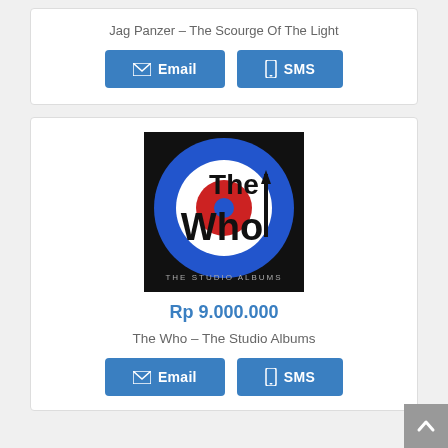Jag Panzer – The Scourge Of The Light
[Figure (other): Email and SMS buttons for Jag Panzer listing]
[Figure (illustration): The Who – The Studio Albums album cover art: black background with blue and white target/bullseye, red circle center, bold black text 'The Who' and 'THE STUDIO ALBUMS']
Rp 9.000.000
The Who – The Studio Albums
[Figure (other): Email and SMS buttons for The Who listing]